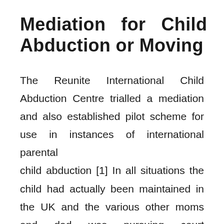Mediation for Child Abduction or Moving
The Reunite International Child Abduction Centre trialled a mediation and also established pilot scheme for use in instances of international parental child abduction [1] In all situations the child had actually been maintained in the UK and the various other moms and dad was pursuing court proceedings for its return. Of the 28 instances they moderated 75% of them had the ability to get to contract as to where the child need to live and the significance of a proceeding connection with the other